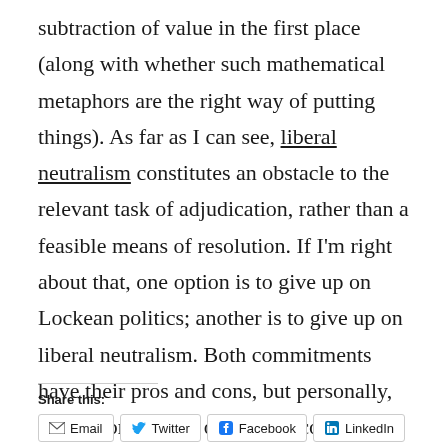subtraction of value in the first place (along with whether such mathematical metaphors are the right way of putting things). As far as I can see, liberal neutralism constitutes an obstacle to the relevant task of adjudication, rather than a feasible means of resolution. If I'm right about that, one option is to give up on Lockean politics; another is to give up on liberal neutralism. Both commitments have their pros and cons, but personally, I'd opt for the first over the second.
Share this:
Email | Twitter | Facebook | LinkedIn